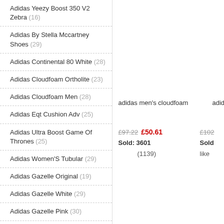Adidas Yeezy Boost 350 V2 Zebra (16)
Adidas By Stella Mccartney Shoes (29)
Adidas Continental 80 White (28)
Adidas Cloudfoam Ortholite (23)
Adidas Cloudfoam Men (28)
Adidas Eqt Cushion Adv (25)
Adidas Ultra Boost Game Of Thrones (25)
Adidas Women'S Tubular (29)
Adidas Gazelle Original (19)
Adidas Gazelle White (29)
Adidas Gazelle Pink (30)
Adidas Falcon Mujer (29)
Adidas Falcon Shoes (28)
Adidas Kids Trainers (28)
Adidas Mens Basketball Shoes (28)
adidas men's cloudfoam
adida
£97.22  £50.61
Sold: 3601
(1139)
like
£102
Sold